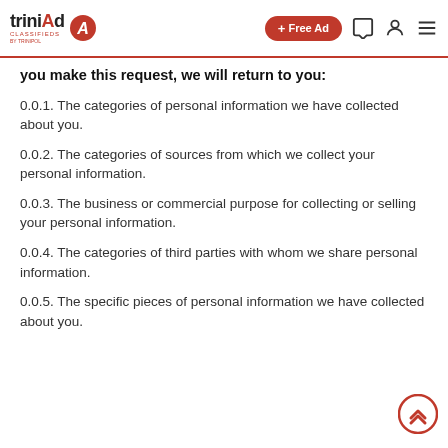triniad CLASSIFIEDS + Free Ad
you make this request, we will return to you:
0.0.1. The categories of personal information we have collected about you.
0.0.2. The categories of sources from which we collect your personal information.
0.0.3. The business or commercial purpose for collecting or selling your personal information.
0.0.4. The categories of third parties with whom we share personal information.
0.0.5. The specific pieces of personal information we have collected about you.